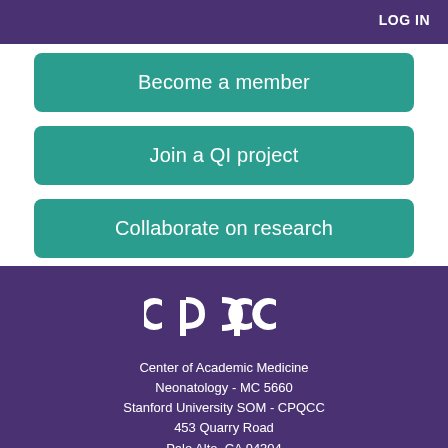LOG IN
Become a member
Join a QI project
Collaborate on research
[Figure (logo): CPQCC logo text in white on purple background]
Center of Academic Medicine
Neonatology - MC 5660
Stanford University SOM - CPQCC
453 Quarry Road
Palo Alto, CA 94304